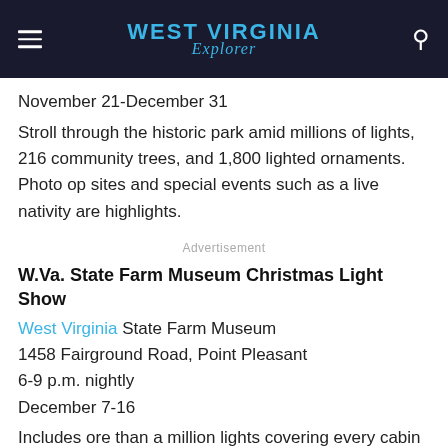WEST VIRGINIA Explorer
November 21-December 31
Stroll through the historic park amid millions of lights, 216 community trees, and 1,800 lighted ornaments. Photo op sites and special events such as a live nativity are highlights.
Advertisement
W.Va. State Farm Museum Christmas Light Show
West Virginia State Farm Museum
1458 Fairground Road, Point Pleasant
6-9 p.m. nightly
December 7-16
Includes ore than a million lights covering every cabin and machinery displayed. Santa is on hand for pictures, and free